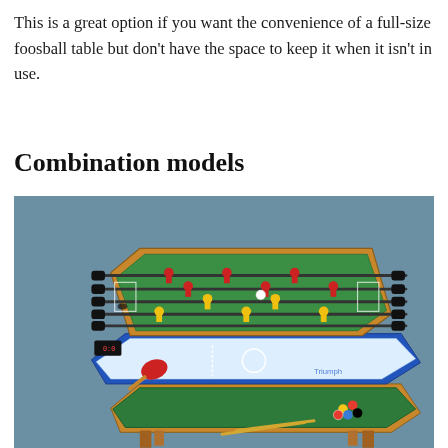This is a great option if you want the convenience of a full-size foosball table but don't have the space to keep it when it isn't in use.
Combination models
[Figure (photo): A multi-game combination table shown in an exploded-view arrangement, featuring a foosball table on top, an air hockey/table tennis layer in the middle, and a pool/billiards table at the bottom, displayed against a slate-blue background.]